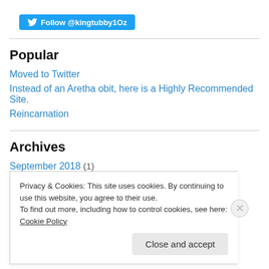[Figure (other): Twitter Follow button for @kingtubby1Oz]
Popular
Moved to Twitter
Instead of an Aretha obit, here is a Highly Recommended Site.
Reincarnation
Archives
September 2018 (1)
Privacy & Cookies: This site uses cookies. By continuing to use this website, you agree to their use. To find out more, including how to control cookies, see here: Cookie Policy